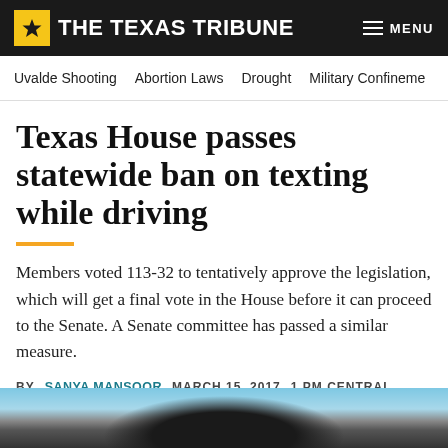THE TEXAS TRIBUNE  MENU
Uvalde Shooting  Abortion Laws  Drought  Military Confinement
Texas House passes statewide ban on texting while driving
Members voted 113-32 to tentatively approve the legislation, which will get a final vote in the House before it can proceed to the Senate. A Senate committee has passed a similar measure.
BY SANYA MANSOOR  MARCH 15, 2017  1 PM CENTRAL
[Figure (screenshot): Social sharing buttons: Facebook, Twitter, Email, Copy Link]
[Figure (photo): Partial photo of a car rear-view mirror with sky background]